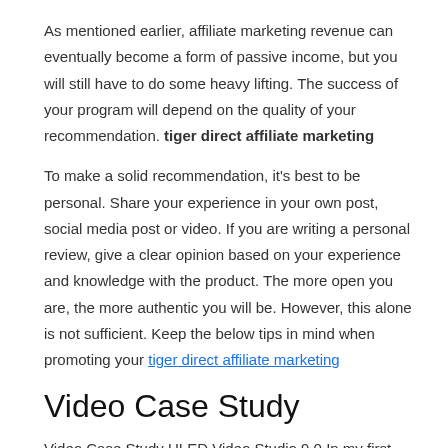As mentioned earlier, affiliate marketing revenue can eventually become a form of passive income, but you will still have to do some heavy lifting. The success of your program will depend on the quality of your recommendation. tiger direct affiliate marketing
To make a solid recommendation, it's best to be personal. Share your experience in your own post, social media post or video. If you are writing a personal review, give a clear opinion based on your experience and knowledge with the product. The more open you are, the more authentic you will be. However, this alone is not sufficient. Keep the below tips in mind when promoting your tiger direct affiliate marketing
Video Case Study
Video Case Study ULED Video Studio 9.0 In my first month of